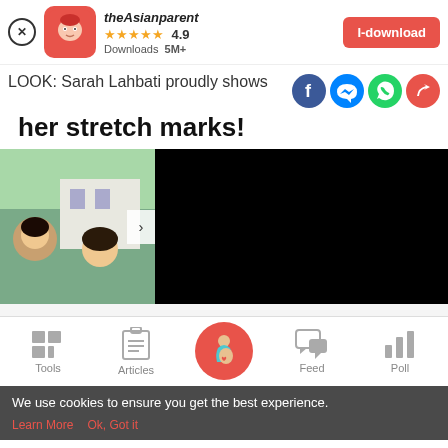[Figure (screenshot): theAsianparent app banner with logo, 4.9 star rating, 5M+ downloads, and I-download button]
LOOK: Sarah Lahbati proudly shows her stretch marks!
[Figure (photo): Left side shows a family photo with a child and woman smiling, right side is a black/dark video frame. A forward arrow button is visible between them.]
[Figure (screenshot): Bottom navigation bar with Tools, Articles, center pregnant woman icon, Feed, and Poll tabs]
We use cookies to ensure you get the best experience.
Learn More   Ok, Got it